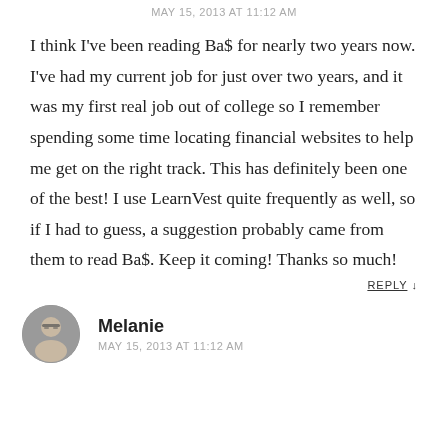MAY 15, 2013 AT 11:12 AM
I think I've been reading Ba$ for nearly two years now. I've had my current job for just over two years, and it was my first real job out of college so I remember spending some time locating financial websites to help me get on the right track. This has definitely been one of the best! I use LearnVest quite frequently as well, so if I had to guess, a suggestion probably came from them to read Ba$. Keep it coming! Thanks so much!
REPLY ↓
[Figure (photo): Circular avatar photo of a person wearing glasses]
Melanie
MAY 15, 2013 AT 11:12 AM